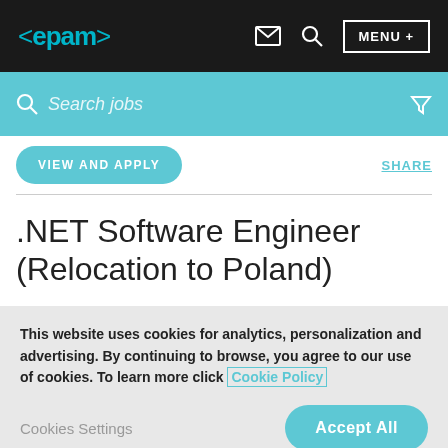<epam> [nav icons] MENU +
Search jobs [filter icon]
VIEW AND APPLY    SHARE
.NET Software Engineer (Relocation to Poland)
This website uses cookies for analytics, personalization and advertising. By continuing to browse, you agree to our use of cookies. To learn more click Cookie Policy
Cookies Settings    Accept All